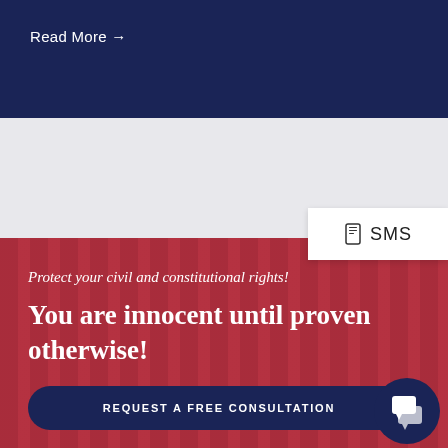Read More →
[Figure (screenshot): SMS button with phone icon on white background]
Protect your civil and constitutional rights!
You are innocent until proven otherwise!
REQUEST A FREE CONSULTATION
[Figure (illustration): Chat bubble icon in navy circle]